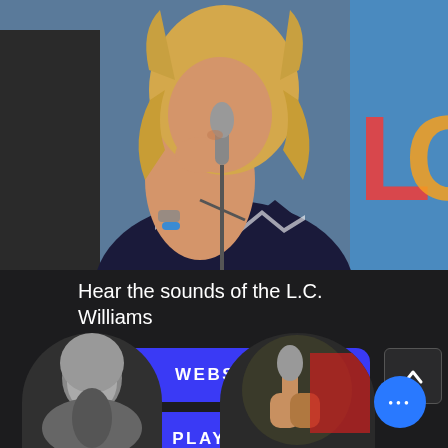[Figure (photo): Woman with blonde hair singing or playing harmonica into a microphone at an outdoor concert, wearing a black and white zigzag sleeveless top and a blue wristband. A colorful banner is visible in the background with letters 'LC'.]
Hear the sounds of the L.C. Williams
[Figure (infographic): Blue rounded rectangle button with text 'WEBSITE']
[Figure (infographic): Blue rounded rectangle button with text 'PLAYLIST']
[Figure (infographic): Small dark square button with upward chevron arrow icon on the right side]
[Figure (photo): Black and white circular thumbnail photo of a blonde female singer performing on stage]
[Figure (photo): Circular thumbnail photo showing hands holding a microphone in a performance setting]
[Figure (infographic): Blue circular floating action button with three horizontal dots (ellipsis menu indicator)]